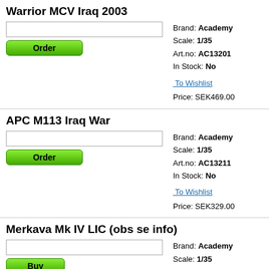Warrior MCV Iraq 2003
Brand: Academy
Scale: 1/35
Art.no: AC13201
In Stock: No
To Wishlist
Price: SEK469.00
APC M113 Iraq War
Brand: Academy
Scale: 1/35
Art.no: AC13211
In Stock: No
To Wishlist
Price: SEK329.00
Merkava Mk IV LIC (obs se info)
Brand: Academy
Scale: 1/35
Art.no: AC13227-GR
In Stock: Yes